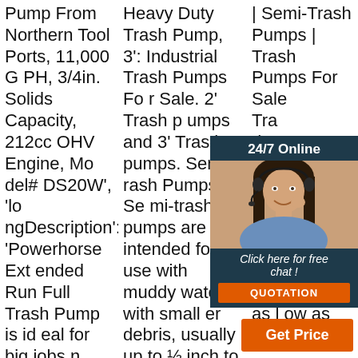Pump From Northern Tool Ports, 11,000 GPH, 3/4in. Solids Capacity, 212cc OHV Engine, Model# DS20W', 'longDescription': 'Powerhorse Extended Run Full Trash Pump is ideal for big jobs needing superior performance and durability. Ruggedly built with a protective steel roll
Heavy Duty Trash Pump, 3': Industrial Trash Pumps For Sale. 2' Trash pumps and 3' Trash pumps. Semi-Trash Pumps. Semi-trash pumps are intended for use with muddy waters with small er debris, usually up to ½ inch to ⅝ inch. Like the larger debris han dling pumps, the
| Semi-Trash Pumps | Trash Pumps For Sale Trash dus rive ps a for l tran cov gen applications. as low as 33595.
[Figure (other): Chat widget overlay with '24/7 Online' header, photo of woman with headset, 'Click here for free chat!' text, and QUOTATION button]
[Figure (other): TOP navigation button with orange text]
[Figure (other): Get Price orange button]